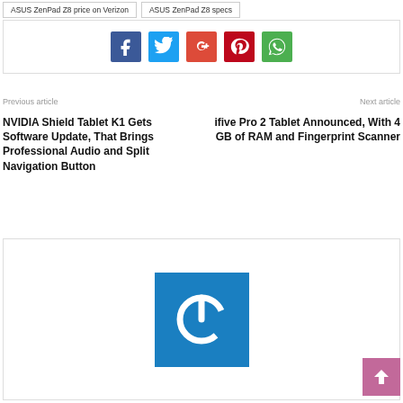ASUS ZenPad Z8 price on Verizon
ASUS ZenPad Z8 specs
[Figure (other): Social sharing buttons: Facebook, Twitter, Google+, Pinterest, WhatsApp]
Previous article
Next article
NVIDIA Shield Tablet K1 Gets Software Update, That Brings Professional Audio and Split Navigation Button
ifive Pro 2 Tablet Announced, With 4 GB of RAM and Fingerprint Scanner
[Figure (logo): Website logo: blue square with white power/on button icon]